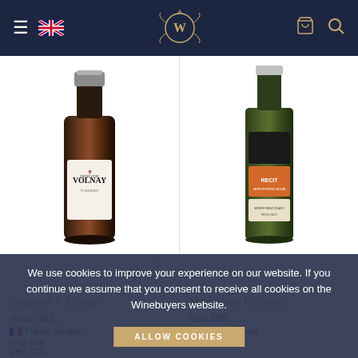Winebuyers website header with navigation menu, UK flag, logo, cart and search icons
[Figure (photo): Bottle of Domaine Y Clerget Volnay red wine]
[Figure (photo): Bottle of Monchiero Carbone Italian white wine]
Domaine Y Clerget
Monchiero Carbone
France, Burgundy, Pinot Noir, ABV: 13%
Italy, Piedmont, Arneis
We use cookies to improve your experience on our website. If you continue we assume that you consent to receive all cookies on the Winebuyers website.
ALLOW COOKIES